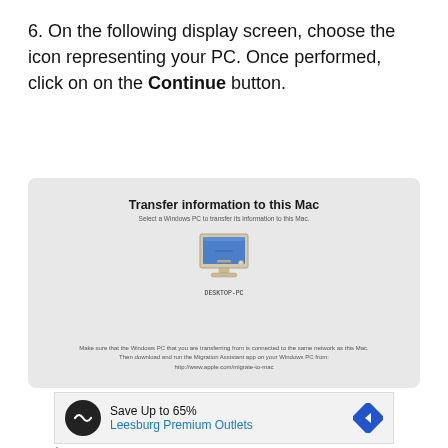6. On the following display screen, choose the icon representing your PC. Once performed, click on on the Continue button.
[Figure (screenshot): Mac OS Migration Assistant screen titled 'Transfer information to this Mac' showing a Windows PC desktop icon labeled DESKTOP-PC, with instructions to select a Windows PC and download the Migration Assistant app from http://www.apple.com/migrate-to-mac]
[Figure (screenshot): Advertisement banner: Save Up to 65% Leesburg Premium Outlets with circular logo and direction arrow icon]